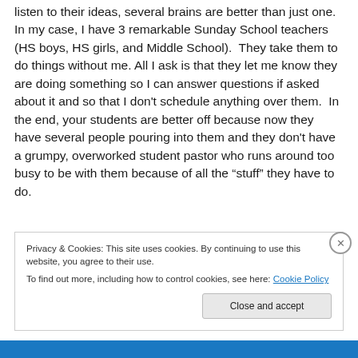listen to their ideas, several brains are better than just one. In my case, I have 3 remarkable Sunday School teachers (HS boys, HS girls, and Middle School). They take them to do things without me. All I ask is that they let me know they are doing something so I can answer questions if asked about it and so that I don't schedule anything over them. In the end, your students are better off because now they have several people pouring into them and they don't have a grumpy, overworked student pastor who runs around too busy to be with them because of all the “stuff” they have to do.
Privacy & Cookies: This site uses cookies. By continuing to use this website, you agree to their use.
To find out more, including how to control cookies, see here: Cookie Policy